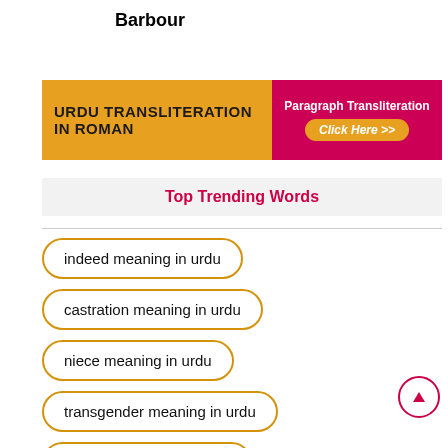Barbour
[Figure (infographic): Orange and pink banner for Urdu Transliteration in Roman with a Paragraph Transliteration Click Here button]
Top Trending Words
indeed meaning in urdu
castration meaning in urdu
niece meaning in urdu
transgender meaning in urdu
introvert meaning in urdu